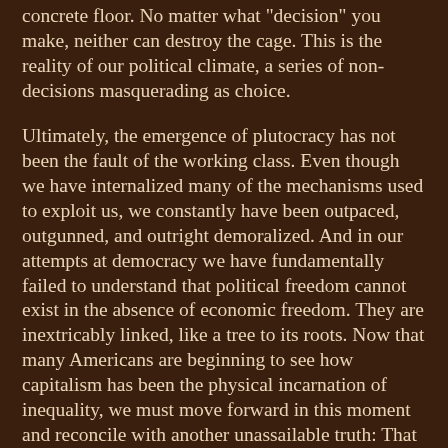concrete floor. No matter what "decision" you make, neither can destroy the cage. This is the reality of our political climate, a series of non-decisions masquerading as choice.
Ultimately, the emergence of plutocracy has not been the fault of the working class. Even though we have internalized many of the mechanisms used to exploit us, we constantly have been outpaced, outgunned, and outright demoralized. And in our attempts at democracy we have fundamentally failed to understand that political freedom cannot exist in the absence of economic freedom. They are inextricably linked, like a tree to its roots. Now that many Americans are beginning to see how capitalism has been the physical incarnation of inequality, we must move forward in this moment and reconcile with another unassailable truth: That capitalism's relation to democracy will always be characterized by adversary, not coexistence. In such an environment, America's major political parties remain henchmen to a perverse and morally bankrupt distribution of power.